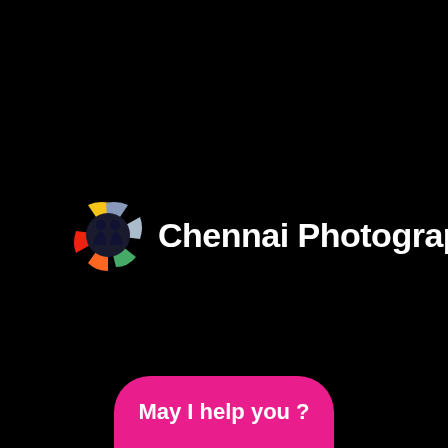[Figure (logo): Chennai Photography logo: a camera aperture icon with colored blades (yellow, blue/grey, green, orange, red) and silhouette of two people in the center, followed by bold white text 'Chennai Photography']
May I help you ?